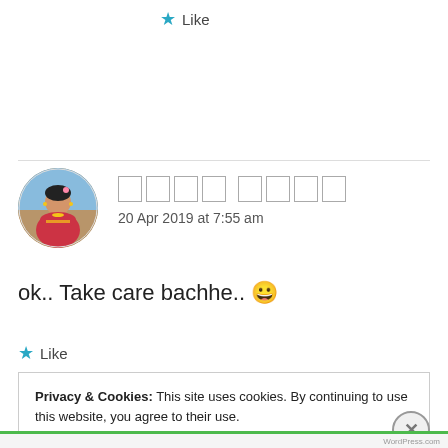★ Like
[Figure (photo): Circular avatar of a woman in traditional Indian bridal attire with jewelry and pink flower in hair]
□□□□ □□□□
20 Apr 2019 at 7:55 am
ok.. Take care bachhe.. 😀
★ Like
Privacy & Cookies: This site uses cookies. By continuing to use this website, you agree to their use.
To find out more, including how to control cookies, see here: Cookie Policy
Close and accept